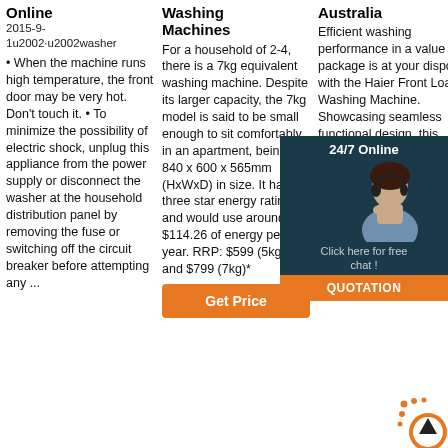Online
2015-9-1u2002·u2002washer
• When the machine runs high temperature, the front door may be very hot. Don't touch it. • To minimize the possibility of electric shock, unplug this appliance from the power supply or disconnect the washer at the household distribution panel by removing the fuse or switching off the circuit breaker before attempting any ...
Washing Machines
For a household of 2-4, there is a 7kg equivalent washing machine. Despite its larger capacity, the 7kg model is said to be small enough to sit comfortably in an apartment, being 840 x 600 x 565mm (HxWxD) in size. It has a three star energy rating and would use around $114.26 of energy per year. RRP: $599 (5kg)* and $799 (7kg)*
Get Price
Australia
Efficient washing performance in a value package is at your disposal with the Haier Front Load Washing Machine. Showcasing seamless functional design, this washing machine delivers careful fabric care at every step of the way. Free store pick up or Australia wide delivery
Get Price
[Figure (photo): 24/7 Online chat popup with a woman wearing headset, and a 'Click here for free chat!' button with orange QUOTATION button below]
[Figure (infographic): Orange scroll-to-top button with upward arrow and decorative orange dots]